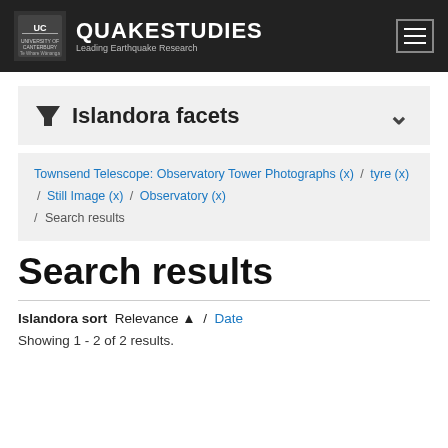QUAKESTUDIES — Leading Earthquake Research
Islandora facets
Townsend Telescope: Observatory Tower Photographs (x) / tyre (x) / Still Image (x) / Observatory (x) / Search results
Search results
Islandora sort  Relevance ▲  /  Date
Showing 1 - 2 of 2 results.